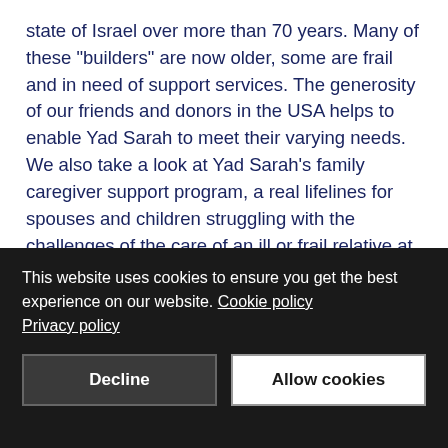state of Israel over more than 70 years. Many of these "builders" are now older, some are frail and in need of support services. The generosity of our friends and donors in the USA helps to enable Yad Sarah to meet their varying needs. We also take a look at Yad Sarah's family caregiver support program, a real lifelines for spouses and children struggling with the challenges of the care of an ill or frail relative at home. And, "Inside Yad Sarah" takes you along on an outing for homebound clients, making it possible for them to visit some of Israel's most cherished historical sites. Spring 2018 INSIDE YAD SARAH Newsletter.
This website uses cookies to ensure you get the best experience on our website. Cookie policy Privacy policy
Decline
Allow cookies